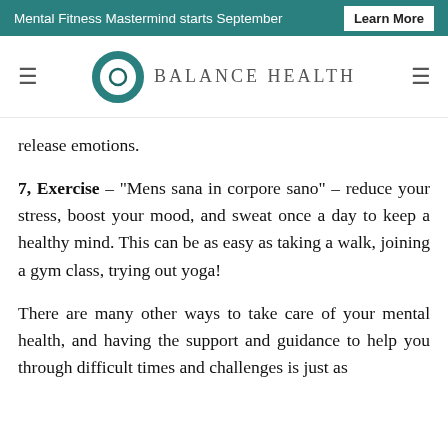Mental Fitness Mastermind starts September  Learn More
[Figure (logo): Balance Health logo with teal circular ring icon and 'BALANCE HEALTH' text in spaced serif uppercase letters, flanked by hamburger menu icons]
release emotions.
7, Exercise – "Mens sana in corpore sano" – reduce your stress, boost your mood, and sweat once a day to keep a healthy mind. This can be as easy as taking a walk, joining a gym class, trying out yoga!
There are many other ways to take care of your mental health, and having the support and guidance to help you through difficult times and challenges is just as